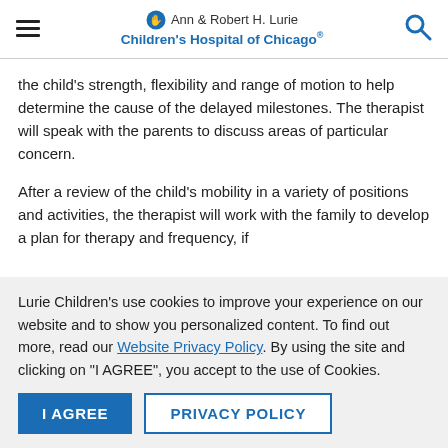Ann & Robert H. Lurie Children's Hospital of Chicago
the child's strength, flexibility and range of motion to help determine the cause of the delayed milestones. The therapist will speak with the parents to discuss areas of particular concern.
After a review of the child's mobility in a variety of positions and activities, the therapist will work with the family to develop a plan for therapy and frequency, if
Lurie Children's use cookies to improve your experience on our website and to show you personalized content. To find out more, read our Website Privacy Policy. By using the site and clicking on "I AGREE", you accept to the use of Cookies.